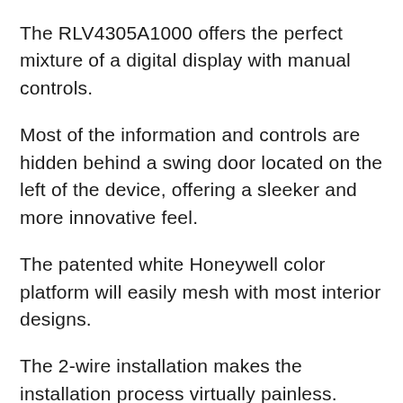The RLV4305A1000 offers the perfect mixture of a digital display with manual controls.
Most of the information and controls are hidden behind a swing door located on the left of the device, offering a sleeker and more innovative feel.
The patented white Honeywell color platform will easily mesh with most interior designs.
The 2-wire installation makes the installation process virtually painless.